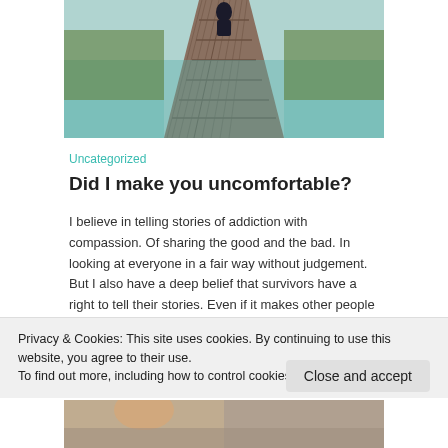[Figure (photo): Person sitting at end of a wooden dock over a reflective lake with green reeds on both sides, viewed from behind.]
Uncategorized
Did I make you uncomfortable?
I believe in telling stories of addiction with compassion. Of sharing the good and the bad. In looking at everyone in a fair way without judgement. But I also have a deep belief that survivors have a right to tell their stories. Even if it makes other people uncomfortable. We do not have to hide … Continue reading
Privacy & Cookies: This site uses cookies. By continuing to use this website, you agree to their use.
To find out more, including how to control cookies, see here: Cookie Policy
Close and accept
[Figure (photo): Partial view of another photo at the bottom of the page, showing a person outdoors.]